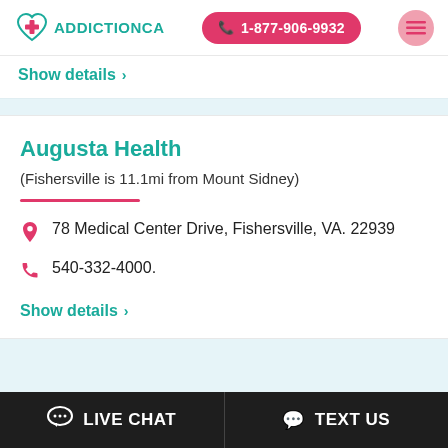AddictionCA | 1-877-906-9932
Show details >
Augusta Health
(Fishersville is 11.1mi from Mount Sidney)
78 Medical Center Drive, Fishersville, VA. 22939
540-332-4000.
Show details >
LIVE CHAT | TEXT US